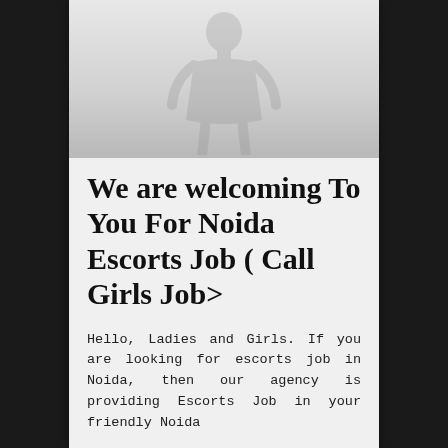[Figure (illustration): Faint watermark-style silhouette figure of a person in the upper image area of the page]
We are welcoming To You For Noida Escorts Job ( Call Girls Job>
Hello, Ladies and Girls. If you are looking for escorts job in Noida, then our agency is providing Escorts Job in your friendly Noida